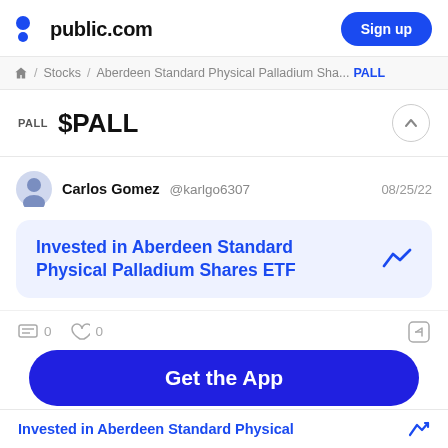public.com  Sign up
🏠 / Stocks / Aberdeen Standard Physical Palladium Sha... PALL
PALL  $PALL
Carlos Gomez @karlgo6307  08/25/22
Invested in Aberdeen Standard Physical Palladium Shares ETF
0  0
Get the App
Invested in Aberdeen Standard Physical